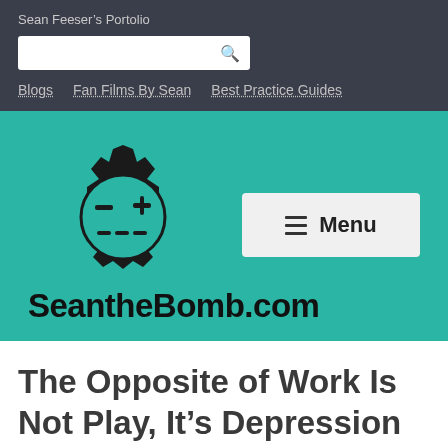Sean Feeser's Portolio
[Figure (screenshot): Search box with magnifying glass icon]
Blogs   Fan Films By Sean   Best Practice Guides
[Figure (logo): SeantheBomb.com logo: gear icon with robot face (minus sign, plus sign, dashed smile) on teal background, with Menu button, and bold site name SeantheBomb.com]
The Opposite of Work Is Not Play, It's Depression